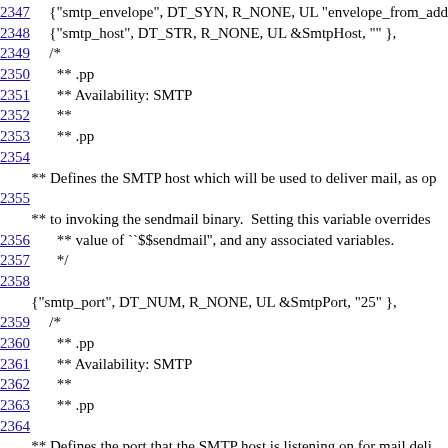2347  {"smtp_envelope", DT_SYN, R_NONE, UL "envelope_from_addr
2348  {"smtp_host", DT_STR, R_NONE, UL &SmtpHost, "" },
2349  /*
2350   ** .pp
2351   ** Availability: SMTP
2352   **
2353   ** .pp
2354
** Defines the SMTP host which will be used to deliver mail, as op
2355
** to invoking the sendmail binary.  Setting this variable overrides
2356   ** value of ``$$sendmail'', and any associated variables.
2357   */
2358
{"smtp_port", DT_NUM, R_NONE, UL &SmtpPort, "25" },
2359  /*
2360   ** .pp
2361   ** Availability: SMTP
2362   **
2363   ** .pp
2364
** Defines the port that the SMTP host is listening on for mail deli
2365   ** Must be specified as a number.
2366   ** .pp